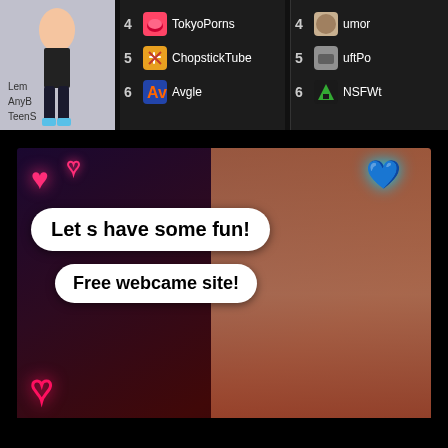[Figure (screenshot): Top strip showing website ranking list with entries: 4 TokyoPorns, 5 ChopstickTube, 6 Avgle with icons; partial left column showing Lem-, AnyB, TeenS with anime figure; partial right column showing 4 umor-, 5 uftPo-, 6 NSFW-]
[Figure (photo): Adult advertising banner for BongaCams webcam site featuring speech bubbles saying 'Let s have some fun!' and 'Free webcame site!' with neon heart icons, coin graphics, and BongaCams logo watermark]
We use cookies to provide our services. By using this website, you agree to this.
Got it!
More information
[Figure (screenshot): Bottom section partially visible showing 'WANNA ... AM GIRLS?' text and BongaCams logo and BOME.AC button]